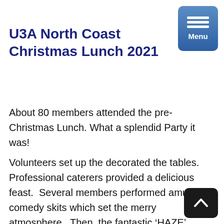U3A North Coast Christmas Lunch 2021
About 80 members attended the pre-Christmas Lunch. What a splendid Party it was!
Volunteers set up the decorated the tables.  Professional caterers provided a delicious feast.  Several members performed amusing comedy skits which set the merry atmosphere.  Then, the fantastic ‘HAZE’ professional four-piece Jazz and Rock’n’Roll Band raised the merriment to a higher level as they played many w...